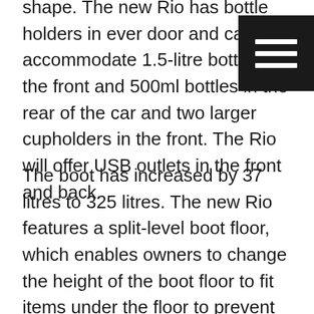shape. The new Rio has bottle holders in every door and can accommodate 1.5-litre bottles in the front and 500ml bottles in the rear of the car and two larger cupholders in the front. The Rio will offer USB outlets in the front and back.
The boot has increased by 37 litres to 325 litres. The new Rio features a split-level boot floor, which enables owners to change the height of the boot floor to fit items under the floor to prevent objects rolling around, or to keep them out of sight. The fuel tank, which is located under the rear bench, is 45 litres, two litres larger than the earlier model. The new Rio is fitted with six airbags throughout the cabin, as well as ISOFIX child-seat tether and anchor points for rear passenger seats.